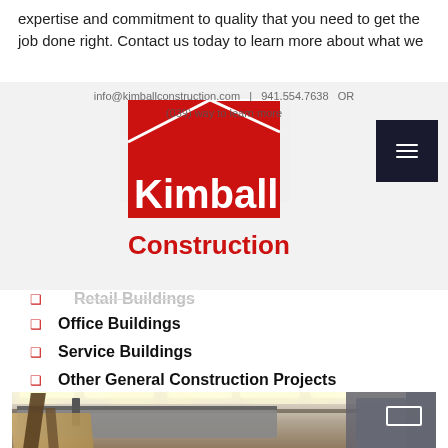expertise and commitment to quality that you need to get the job done right. Contact us today to learn more about what we
[Figure (logo): Kimball Construction logo: red and white geometric shape (house/triangle) above bold white text 'Kimball' on red background, with red 'Construction' text below]
Retail Buildings
Office Buildings
Service Buildings
Other General Construction Projects
[Figure (photo): Interior of a construction/workshop space with white walls, ceiling fluorescent lights, industrial equipment including what appears to be a CNC router or large cutting machine on a table, and various materials and equipment]